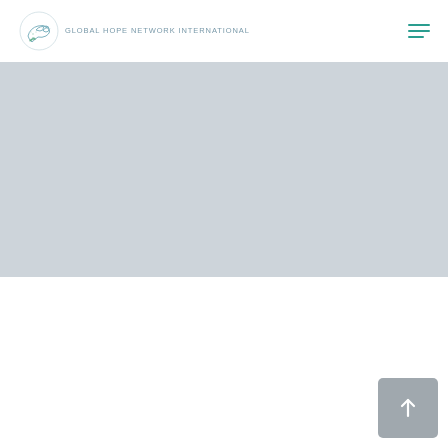[Figure (logo): Global Hope Network International logo with dove illustration and text]
[Figure (illustration): Hamburger menu icon with three horizontal teal lines]
[Figure (illustration): Large light gray hero banner/placeholder image area]
[Figure (illustration): Gray scroll-to-top button with upward arrow icon in bottom right corner]